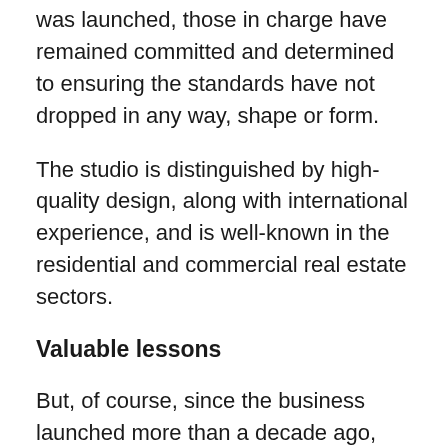was launched, those in charge have remained committed and determined to ensuring the standards have not dropped in any way, shape or form.
The studio is distinguished by high-quality design, along with international experience, and is well-known in the residential and commercial real estate sectors.
Valuable lessons
But, of course, since the business launched more than a decade ago, many crucial lessons have been learned along the way. It is those lessons which have helped to ensure that the business has continued to